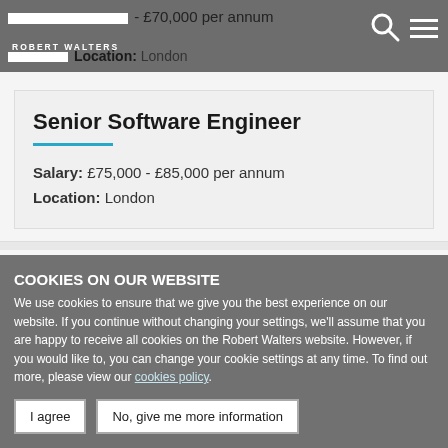[redacted] £55,000 - £70,000 per annum
ROBERT WALTERS
Location: London
Senior Software Engineer
Salary: £75,000 - £85,000 per annum
Location: London
COOKIES ON OUR WEBSITE
We use cookies to ensure that we give you the best experience on our website. If you continue without changing your settings, we'll assume that you are happy to receive all cookies on the Robert Walters website. However, if you would like to, you can change your cookie settings at any time. To find out more, please view our cookies policy.
I agree | No, give me more information